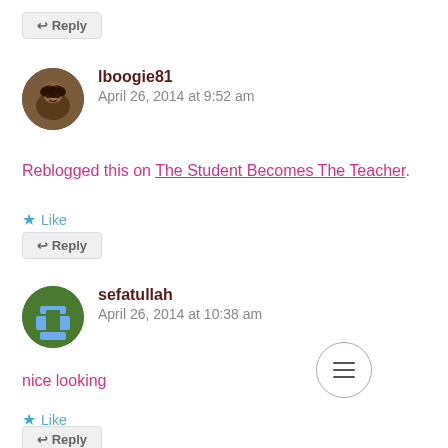Reply (button)
lboogie81
April 26, 2014 at 9:52 am
Reblogged this on The Student Becomes The Teacher.
Like
Reply (button)
sefatullah
April 26, 2014 at 10:38 am
nice looking
Like
Reply (button)
[Figure (other): Circular menu/hamburger button icon]